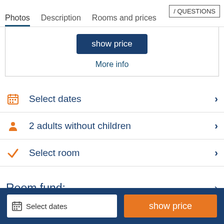Photos  Description  Rooms and prices / QUESTIONS
show price
More info
Select dates
2 adults without children
Select room
Room fund:
Select dates  show price